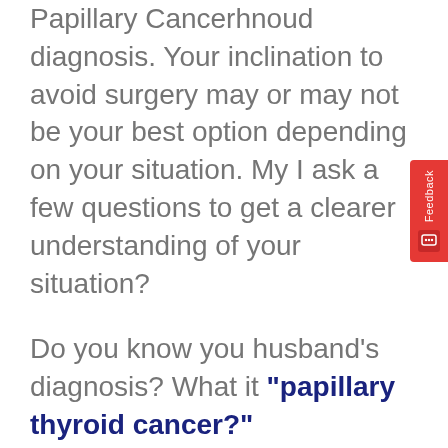Papillary Cancerhnoud diagnosis. Your inclination to avoid surgery may or may not be your best option depending on your situation. My I ask a few questions to get a clearer understanding of your situation?
Do you know you husband's diagnosis? What it "papillary thyroid cancer?"
Do you know your husband's stage? Or